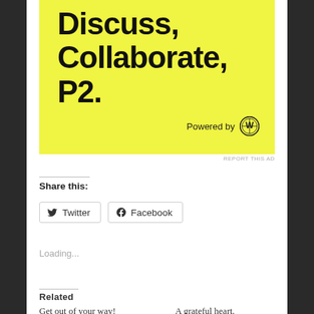[Figure (illustration): Yellow advertisement banner for P2 (WordPress) showing text 'Discuss, Collaborate, P2.' on bright yellow background with WordPress logo and 'Powered by' text]
REPORT THIS AD
Share this:
Twitter
Facebook
Loading...
Related
Get out of your way!
A grateful heart.